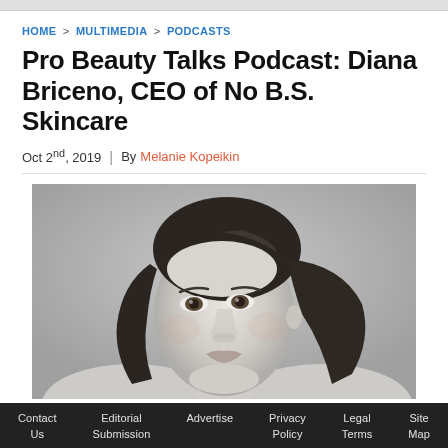HOME > MULTIMEDIA > PODCASTS
Pro Beauty Talks Podcast: Diana Briceno, CEO of No B.S. Skincare
Oct 2nd, 2019 | By Melanie Kopeikin
[Figure (photo): Black and white close-up portrait photo of a woman with dark hair pulled back, looking slightly downward]
Contact Us   Editorial Submission   Advertise   Privacy Policy   Legal Terms   Site Map